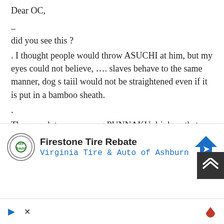Dear OC,
_
did you see this ?
. I thought people would throw ASUCHI at him, but my eyes could not believe, …. slaves behave to the same manner, dog s taiil would not be straightened even if it is put in a bamboo sheath.
.
There are lot more among PUNNAKU drinkers that salute to President yet today. How come ?
https://www.youtube.com/watch?v=tQVIewR89wA
[Figure (infographic): Advertisement banner: Firestone Tire Rebate - Virginia Tire & Auto of Ashburn, with logo and navigation icon]
[Figure (infographic): Close X button overlay on content]
[Figure (infographic): Dark scroll-to-top button with double up arrow]